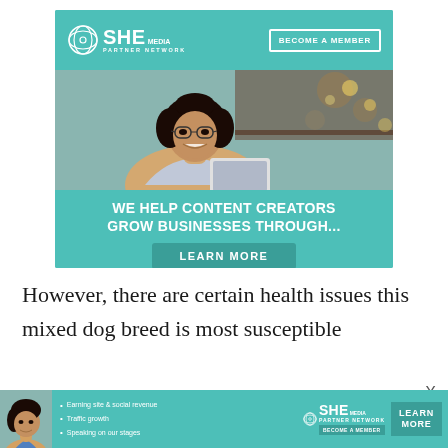[Figure (illustration): SHE Media Partner Network advertisement banner. Teal background with logo and 'BECOME A MEMBER' button at top, photo of smiling woman with glasses using laptop, text 'WE HELP CONTENT CREATORS GROW BUSINESSES THROUGH...' and 'LEARN MORE' button.]
However, there are certain health issues this mixed dog breed is most susceptible
[Figure (illustration): SHE Media Partner Network bottom ad banner in teal. Shows woman photo on left, bullet points: Earning site & social revenue, Traffic growth, Speaking on our stages. SHE Media logo and LEARN MORE button on right.]